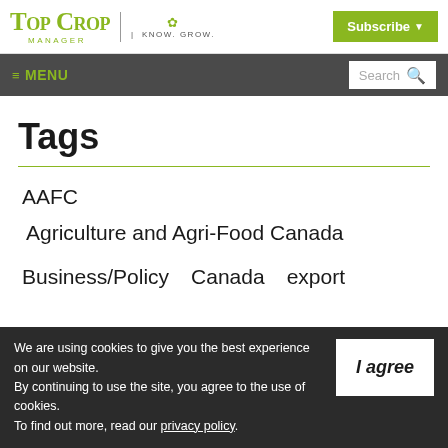Top Crop Manager | KNOW. GROW. | Subscribe
≡ MENU | Search
Tags
AAFC
Agriculture and Agri-Food Canada
Business/Policy
Canada
export
We are using cookies to give you the best experience on our website. By continuing to use the site, you agree to the use of cookies. To find out more, read our privacy policy.